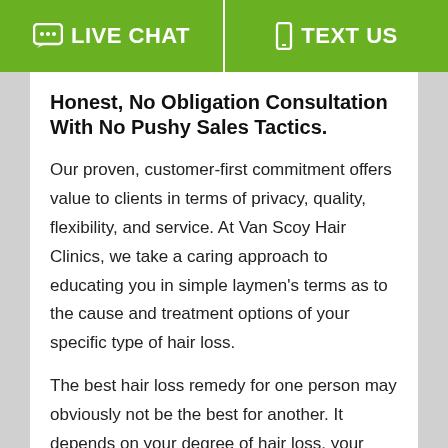LIVE CHAT   TEXT US
Honest, No Obligation Consultation With No Pushy Sales Tactics.
Our proven, customer-first commitment offers value to clients in terms of privacy, quality, flexibility, and service. At Van Scoy Hair Clinics, we take a caring approach to educating you in simple laymen's terms as to the cause and treatment options of your specific type of hair loss.
The best hair loss remedy for one person may obviously not be the best for another. It depends on your degree of hair loss, your level of physical activity,